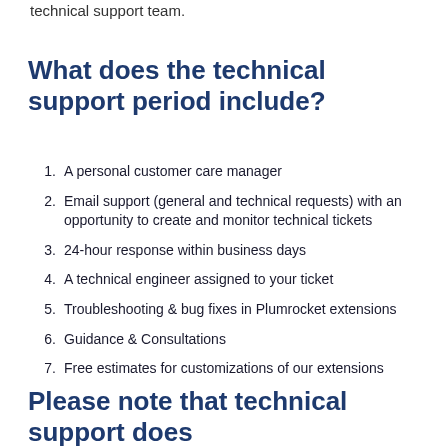technical support team.
What does the technical support period include?
A personal customer care manager
Email support (general and technical requests) with an opportunity to create and monitor technical tickets
24-hour response within business days
A technical engineer assigned to your ticket
Troubleshooting & bug fixes in Plumrocket extensions
Guidance & Consultations
Free estimates for customizations of our extensions
Please note that technical support does